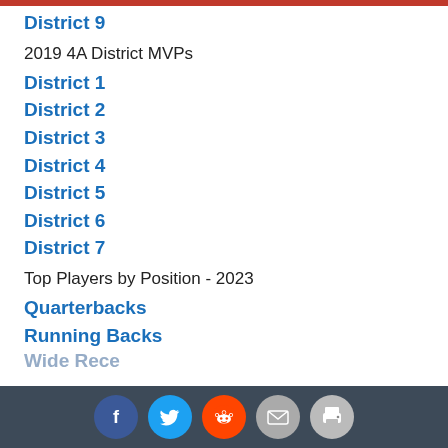District 9
2019 4A District MVPs
District 1
District 2
District 3
District 4
District 5
District 6
District 7
Top Players by Position - 2023
Quarterbacks
Running Backs
Wide Receivers
Social sharing icons: Facebook, Twitter, Reddit, Email, Print